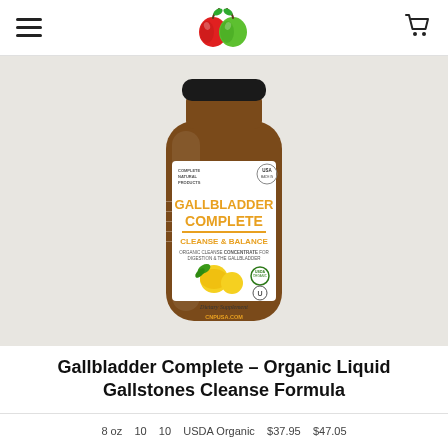Navigation header with hamburger menu, apple logo, and cart icon
[Figure (photo): Bottle of Gallbladder Complete – Organic Cleanse & Balance dietary supplement by Complete Natural Products, showing a brown glass bottle with white label featuring text 'GALLBLADDER COMPLETE CLEANSE & BALANCE' in orange/gold, lemon imagery, USDA Organic and Kosher certification badges, and CNPUSA.COM website.]
Gallbladder Complete – Organic Liquid Gallstones Cleanse Formula
8 oz  10  10  USDA Organic  $37.95  $47.05